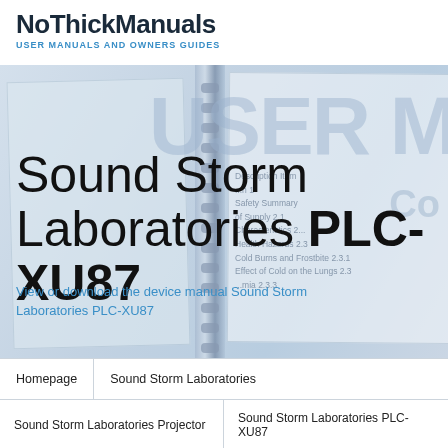NoThickManuals USER MANUALS AND OWNERS GUIDES
[Figure (photo): Background showing a user manual with spiral binding, table of contents text, and large watermark-style text 'USER M' visible]
Sound Storm Laboratories PLC-XU87
View or download the device manual Sound Storm Laboratories PLC-XU87
Homepage | Sound Storm Laboratories
Sound Storm Laboratories Projector | Sound Storm Laboratories PLC-XU87